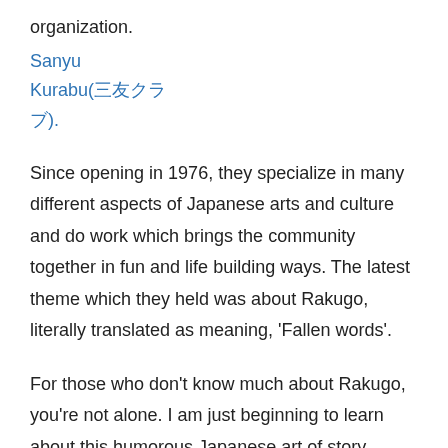organization.
Sanyu Kurabu(三友クラブ).
Since opening in 1976, they specialize in many different aspects of Japanese arts and culture and do work which brings the community together in fun and life building ways.  The latest theme which they held was about Rakugo, literally translated as meaning, 'Fallen words'.
For those who don't know much about Rakugo, you're not alone.  I am just beginning to learn   about this humorous Japanese art of story telling myself.  Just like